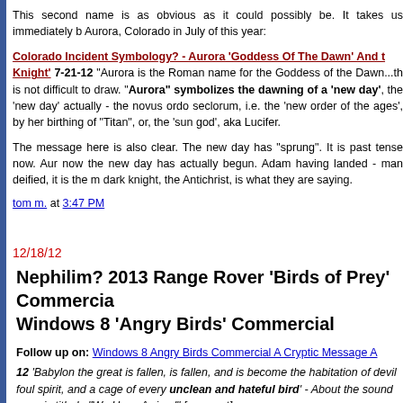This second name is as obvious as it could possibly be. It takes us immediately b Aurora, Colorado in July of this year:
Colorado Incident Symbology? - Aurora 'Goddess Of The Dawn' And t Knight' 7-21-12 "Aurora is the Roman name for the Goddess of the Dawn...th is not difficult to draw. "Aurora" symbolizes the dawning of a 'new day', the 'new day' actually - the novus ordo seclorum, i.e. the 'new order of the ages', by her birthing of "Titan", or, the 'sun god', aka Lucifer.
The message here is also clear. The new day has "sprung". It is past tense now. Aur now the new day has actually begun. Adam having landed - man deified, it is the m dark knight, the Antichrist, is what they are saying.
tom m. at 3:47 PM
12/18/12
Nephilim? 2013 Range Rover 'Birds of Prey' Commercia Windows 8 'Angry Birds' Commercial
Follow up on: Windows 8 Angry Birds Commercial A Cryptic Message A
12 'Babylon the great is fallen, is fallen, and is become the habitation of devil foul spirit, and a cage of every unclean and hateful bird' - About the sound song is titled..."We Have Arrived" [see post]